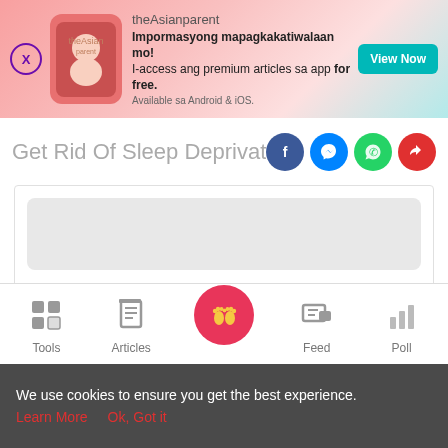[Figure (screenshot): theAsianparent app advertisement banner with close button, app icon, promotional text in Filipino, and View Now button]
Get Rid Of Sleep Deprivation With Th
[Figure (infographic): Social share icons: Facebook (blue circle), Messenger (blue circle), WhatsApp (green circle), Share/Forward (red circle)]
[Figure (screenshot): Content loading skeleton with three grey placeholder bars]
[Figure (infographic): Bottom navigation bar with Tools, Articles, Home (baby feet pink circle), Feed, Poll icons]
We use cookies to ensure you get the best experience.
Learn More   Ok, Got it